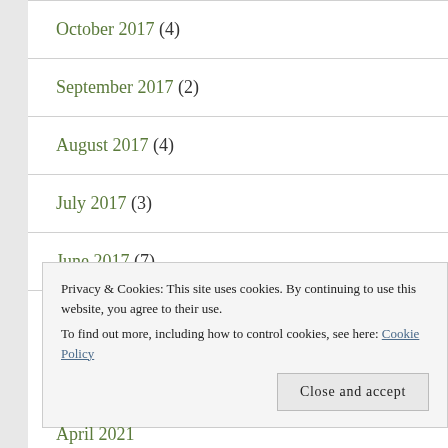October 2017 (4)
September 2017 (2)
August 2017 (4)
July 2017 (3)
June 2017 (7)
Privacy & Cookies: This site uses cookies. By continuing to use this website, you agree to their use. To find out more, including how to control cookies, see here: Cookie Policy
Close and accept
April 2021